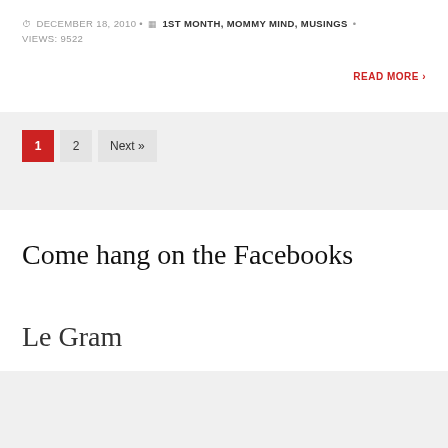DECEMBER 18, 2010 • 1ST MONTH, MOMMY MIND, MUSINGS • VIEWS: 9522
READ MORE ›
1  2  Next »
Come hang on the Facebooks
Le Gram